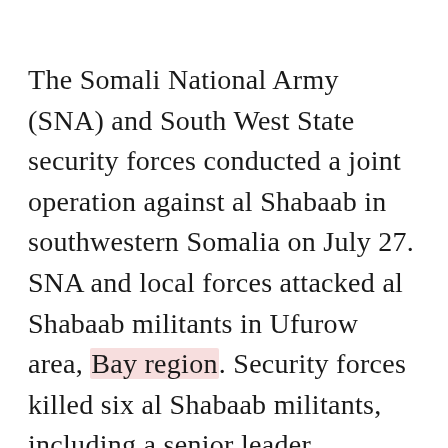The Somali National Army (SNA) and South West State security forces conducted a joint operation against al Shabaab in southwestern Somalia on July 27. SNA and local forces attacked al Shabaab militants in Ufurow area, Bay region. Security forces killed six al Shabaab militants, including a senior leader, Mo'alim Derow. Derow oversaw al Shabaab's checkpoints in Bay and Bakool regions.[citation]